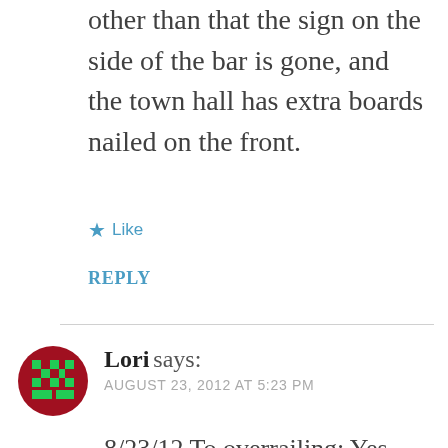other than that the sign on the side of the bar is gone, and the town hall has extra boards nailed on the front.
★ Like
REPLY
Lori says:
AUGUST 23, 2012 AT 5:23 PM
8/23/12 To overrailing: Yes, the town did have a girl's basketball team all the years I attended school there. I played on the team until the high school closed in 1960. My husband & I